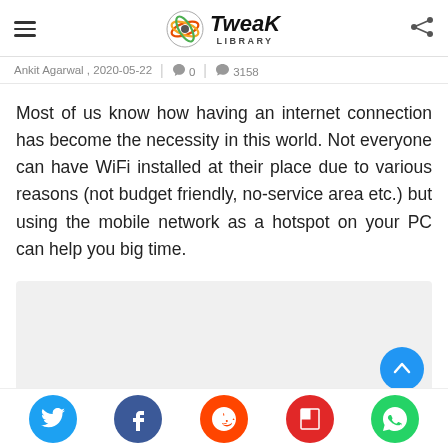Tweak Library
Ankit Agarwal , 2020-05-22 | 0 | 3138
Most of us know how having an internet connection has become the necessity in this world. Not everyone can have WiFi installed at their place due to various reasons (not budget friendly, no-service area etc.) but using the mobile network as a hotspot on your PC can help you big time.
[Figure (other): Advertisement placeholder box (gray background)]
[Figure (other): Social sharing buttons: Twitter, Facebook, Reddit, Flipboard, WhatsApp]